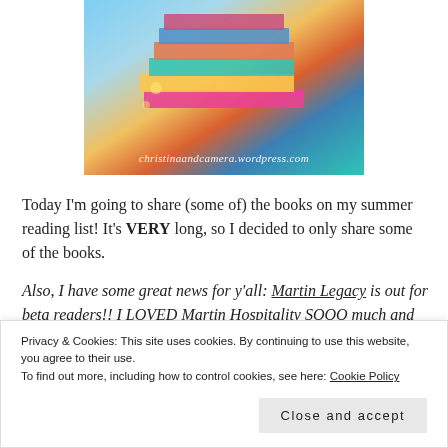[Figure (photo): Stack of colorful books with fairy lights on a table; watermark text reads 'christinaandcamera.wordpress.com']
Today I'm going to share (some of) the books on my summer reading list! It's VERY long, so I decided to only share some of the books.
Also, I have some great news for y'all: Martin Legacy is out for beta readers!! I LOVED Martin Hospitality SOOO much and Martin Legacy...
Privacy & Cookies: This site uses cookies. By continuing to use this website, you agree to their use.
To find out more, including how to control cookies, see here: Cookie Policy
Close and accept